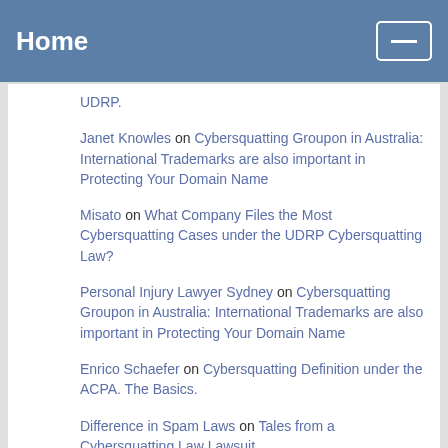Home
UDRP.
Janet Knowles on Cybersquatting Groupon in Australia: International Trademarks are also important in Protecting Your Domain Name
Misato on What Company Files the Most Cybersquatting Cases under the UDRP Cybersquatting Law?
Personal Injury Lawyer Sydney on Cybersquatting Groupon in Australia: International Trademarks are also important in Protecting Your Domain Name
Enrico Schaefer on Cybersquatting Definition under the ACPA. The Basics.
Difference in Spam Laws on Tales from a Cybersquatting Law Lawsuit
Gaines Milligan on Don't be a Cybersquatter: How To Avoid Trademark Cybersquatting under the ACPA and UDRP.